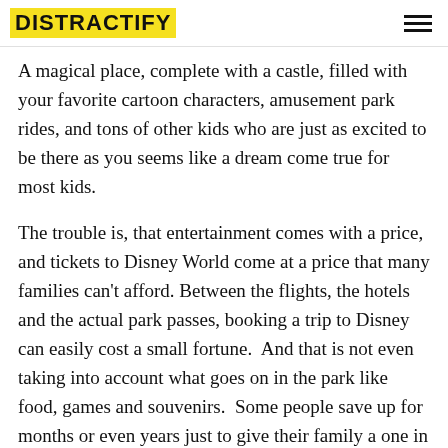DISTRACTIFY
A magical place, complete with a castle, filled with your favorite cartoon characters, amusement park rides, and tons of other kids who are just as excited to be there as you seems like a dream come true for most kids.
The trouble is, that entertainment comes with a price, and tickets to Disney World come at a price that many families can't afford. Between the flights, the hotels and the actual park passes, booking a trip to Disney can easily cost a small fortune.  And that is not even taking into account what goes on in the park like food, games and souvenirs.  Some people save up for months or even years just to give their family a one in a lifetime experience like going to